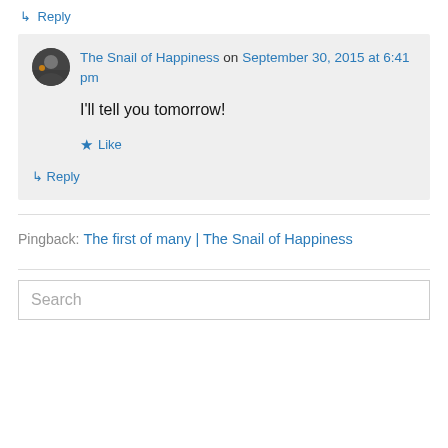↳ Reply
The Snail of Happiness on September 30, 2015 at 6:41 pm
I'll tell you tomorrow!
★ Like
↳ Reply
Pingback: The first of many | The Snail of Happiness
Search